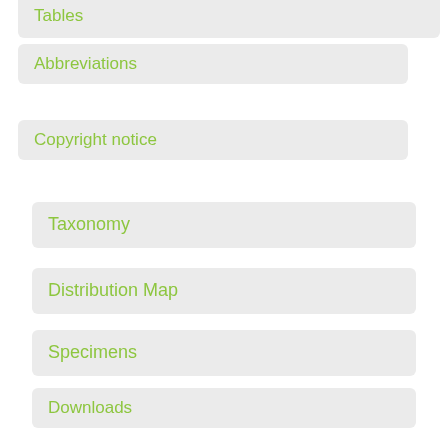Tables
Abbreviations
Copyright notice
Taxonomy
Distribution Map
Specimens
Downloads
Version History